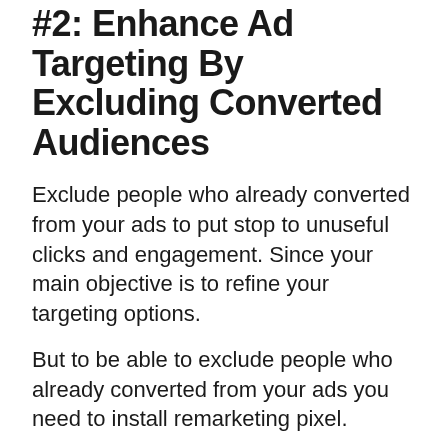#2: Enhance Ad Targeting By Excluding Converted Audiences
Exclude people who already converted from your ads to put stop to unuseful clicks and engagement. Since your main objective is to refine your targeting options.
But to be able to exclude people who already converted from your ads you need to install remarketing pixel.
If you've done that, go to your campaign settings and edit the targeting & placement section. Follow the below steps;
Step 1: Go to Edit Targeting & Placement Section from your campaign settings, an edit your ad set window pop's up.